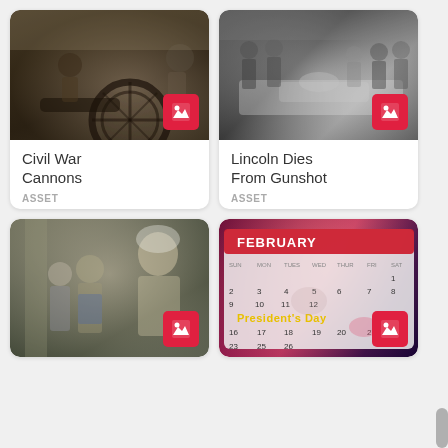[Figure (photo): Civil War cannons scene with soldiers and wagon wheels, sepia toned historical photo]
Civil War Cannons
ASSET
[Figure (photo): Black and white historical illustration of Lincoln on deathbed surrounded by people]
Lincoln Dies From Gunshot
ASSET
[Figure (photo): Color illustration of George Washington with family members in colonial dress]
[Figure (photo): President's Day themed February calendar with historical figures]